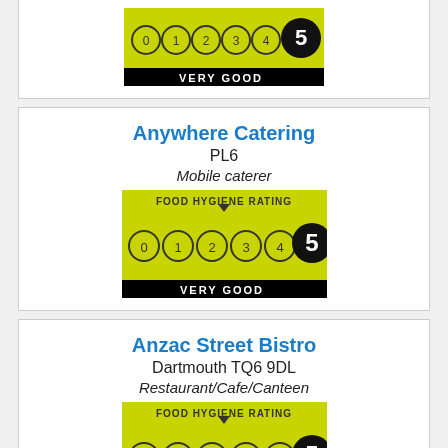[Figure (other): Food Hygiene Rating 5 - VERY GOOD badge (partial, top of page)]
Anywhere Catering
PL6
Mobile caterer
[Figure (other): Food Hygiene Rating 5 - VERY GOOD badge]
Anzac Street Bistro
Dartmouth TQ6 9DL
Restaurant/Cafe/Canteen
[Figure (other): Food Hygiene Rating 5 - VERY GOOD badge]
Appalachian Spring B&B
Totnes TQ9 6DJ
Hotel/bed & breakfast/guest house